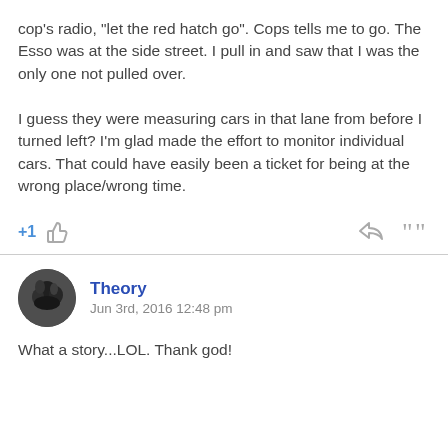cop's radio, "let the red hatch go". Cops tells me to go. The Esso was at the side street. I pull in and saw that I was the only one not pulled over.

I guess they were measuring cars in that lane from before I turned left? I'm glad made the effort to monitor individual cars. That could have easily been a ticket for being at the wrong place/wrong time.
+1
Theory
Jun 3rd, 2016 12:48 pm
What a story...LOL. Thank god!